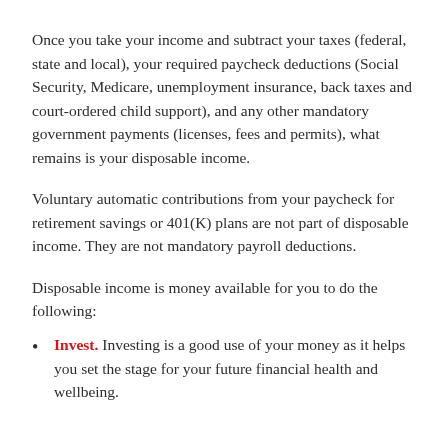Once you take your income and subtract your taxes (federal, state and local), your required paycheck deductions (Social Security, Medicare, unemployment insurance, back taxes and court-ordered child support), and any other mandatory government payments (licenses, fees and permits), what remains is your disposable income.
Voluntary automatic contributions from your paycheck for retirement savings or 401(K) plans are not part of disposable income. They are not mandatory payroll deductions.
Disposable income is money available for you to do the following:
Invest. Investing is a good use of your money as it helps you set the stage for your future financial health and wellbeing.